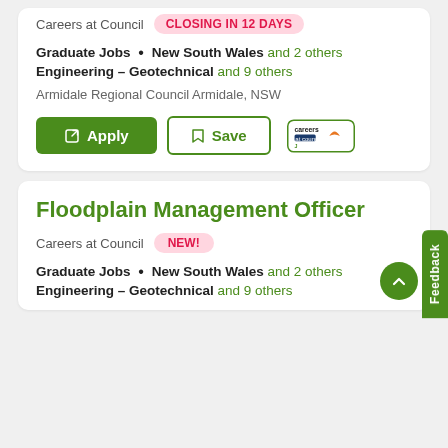Careers at Council  CLOSING IN 12 DAYS
Graduate Jobs • New South Wales and 2 others
Engineering - Geotechnical and 9 others
Armidale Regional Council Armidale, NSW
Apply  Save
Floodplain Management Officer
Careers at Council  NEW!
Graduate Jobs • New South Wales and 2 others
Engineering - Geotechnical and 9 others